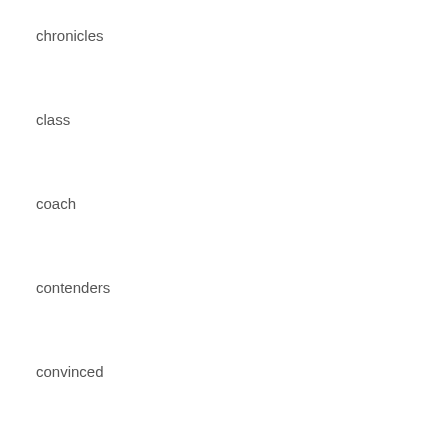chronicles
class
coach
contenders
convinced
custom
devante
dolphins
donruss
downtown
drew
dwight